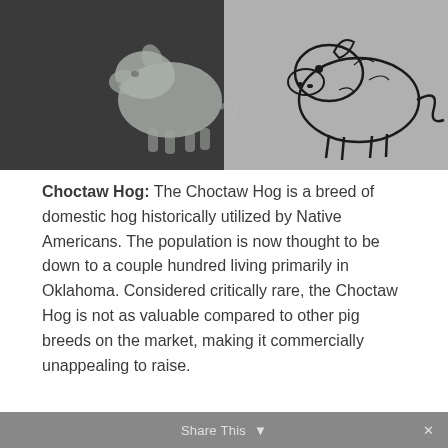[Figure (photo): Two side-by-side images of a Choctaw Hog. Left image shows a pale/light-colored hog silhouette on a dark gray background. Right image shows a black outline/sketch of a hog on a light gray background.]
Choctaw Hog: The Choctaw Hog is a breed of domestic hog historically utilized by Native Americans. The population is now thought to be down to a couple hundred living primarily in Oklahoma. Considered critically rare, the Choctaw Hog is not as valuable compared to other pig breeds on the market, making it commercially unappealing to raise.
Share This ▾  ✕